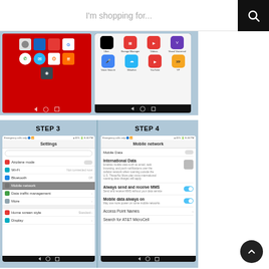I'm shopping for...
[Figure (screenshot): Two Android phone screenshots showing app drawer (Step 1 and Step 2) with various app icons including Contacts, Email, Calendar, Play Store, Google, Phone, Messaging, Firefox, Camera, Uber, Storage Manager, Videos, Visual Voicemail, Voice Search, Weather, YouTube, YP]
[Figure (screenshot): Two Android phone screenshots showing Step 3 (Settings menu with Airplane mode, Wi-Fi, Bluetooth, Mobile network highlighted, Data traffic management, More, Home screen style, Display) and Step 4 (Mobile network settings with Mobile Data, International Data, Always send and receive MMS toggle on, Mobile data always on toggle on, Access Point Names, Search for AT&T MicroCell)]